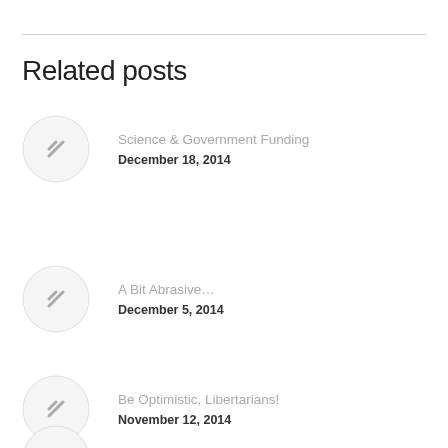Related posts
Science & Government Funding
December 18, 2014
A Bit Abrasive…
December 5, 2014
Be Optimistic, Libertarians!
November 12, 2014
The IRS: It Gets Worse